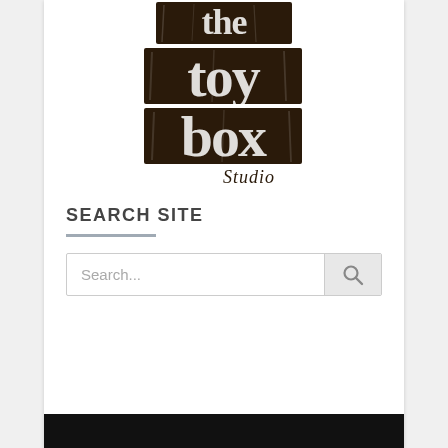[Figure (logo): The Toy Box Studio logo — stacked distressed block letters spelling 'toy box' in dark brown with a handwritten 'Studio' script below]
SEARCH SITE
[Figure (screenshot): Search input field with placeholder text 'Search...' and a magnifying glass search button on the right]